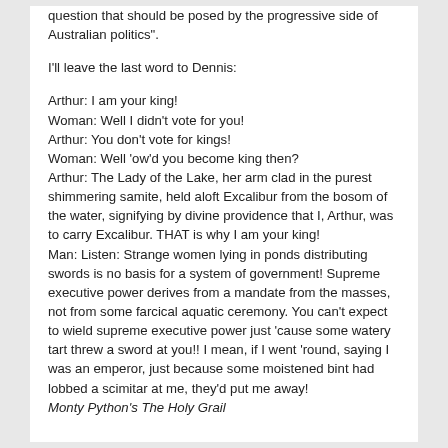question that should be posed by the progressive side of Australian politics".
I'll leave the last word to Dennis:
Arthur: I am your king!
Woman: Well I didn't vote for you!
Arthur: You don't vote for kings!
Woman: Well 'ow'd you become king then?
Arthur: The Lady of the Lake, her arm clad in the purest shimmering samite, held aloft Excalibur from the bosom of the water, signifying by divine providence that I, Arthur, was to carry Excalibur. THAT is why I am your king!
Man: Listen: Strange women lying in ponds distributing swords is no basis for a system of government! Supreme executive power derives from a mandate from the masses, not from some farcical aquatic ceremony. You can't expect to wield supreme executive power just 'cause some watery tart threw a sword at you!! I mean, if I went 'round, saying I was an emperor, just because some moistened bint had lobbed a scimitar at me, they'd put me away!
Monty Python's The Holy Grail